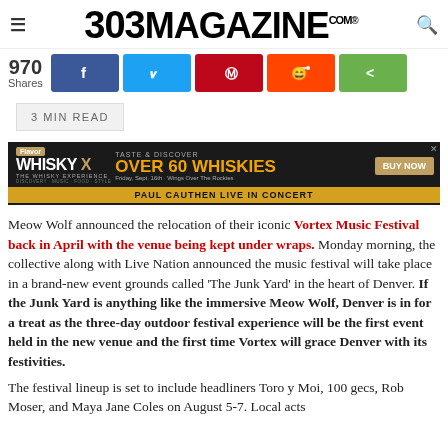303 MAGAZINE
[Figure (infographic): Social share buttons: 970 Shares, Facebook, Twitter, Pinterest, Reddit, Share]
3 MIN READ
[Figure (other): Advertisement for Whisky X event - Taste & Discover Over 60 Whiskies, Buy Now, Paul Cauthen Live in Concert]
Meow Wolf announced the relocation of their iconic Vortex Music Festival back in April with the venue being kept under wraps. Monday morning, the collective along with Live Nation announced the music festival will take place in a brand-new event grounds called 'The Junk Yard' in the heart of Denver. If the Junk Yard is anything like the immersive Meow Wolf, Denver is in for a treat as the three-day outdoor festival experience will be the first event held in the new venue and the first time Vortex will grace Denver with its festivities.
The festival lineup is set to include headliners Toro y Moi, 100 gecs, Rob Moser, and Maya Jane Coles on August 5-7. Local acts